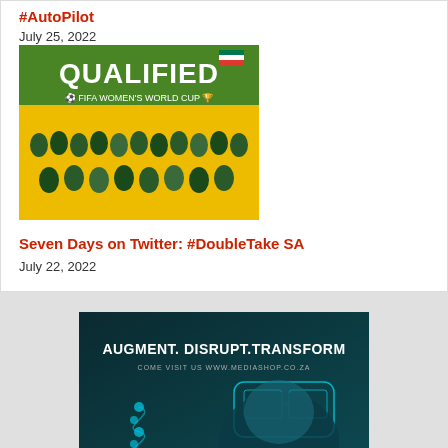#AutoPilot
July 25, 2022
[Figure (photo): South Africa women's national football team qualified for FIFA Women's World Cup — group photo with 'QUALIFIED FIFA WOMEN'S WORLD CUP' banner on yellow background]
Seven Days on Twitter: #DoubleTake SA
July 22, 2022
[Figure (photo): Advertisement for Mediashop.co.za showing a person wearing a VR headset with text 'AUGMENT. DISRUPT. TRANSFORM' and 'COME VISIT US WWW.MEDIASHOP.CO.ZA' on dark teal background]